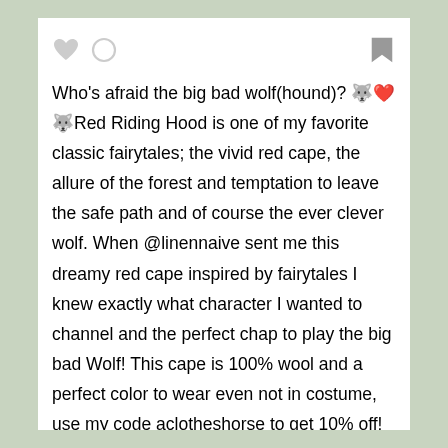[Figure (screenshot): Social media post UI with heart icon, speech bubble icon, and bookmark icon in a top icon bar]
Who's afraid the big bad wolf(hound)? 🐺❤️🐺Red Riding Hood is one of my favorite classic fairytales; the vivid red cape, the allure of the forest and temptation to leave the safe path and of course the ever clever wolf. When @linennaive sent me this dreamy red cape inspired by fairytales I knew exactly what character I wanted to channel and the perfect chap to play the big bad Wolf! This cape is 100% wool and a perfect color to wear even not in costume, use my code aclotheshorse to get 10% off! And do swipe right to see Solomon's glow up from last year. He was only a wee friendly wolfhound last year and